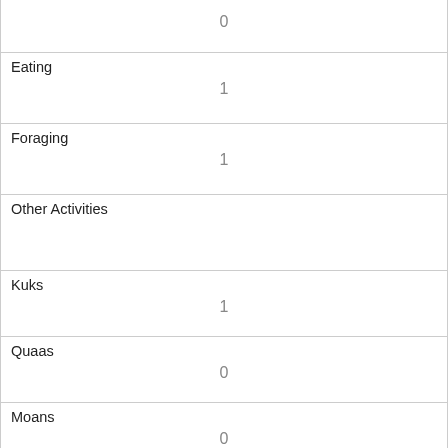| Field | Value |
| --- | --- |
|  | 0 |
| Eating | 1 |
| Foraging | 1 |
| Other Activities |  |
| Kuks | 1 |
| Quaas | 0 |
| Moans | 0 |
| Tail flags | 1 |
| Tail twitches | 0 |
| Approaches | 0 |
| Indifferent |  |